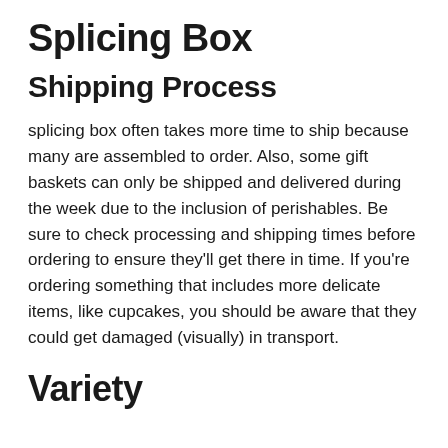Splicing Box
Shipping Process
splicing box often takes more time to ship because many are assembled to order. Also, some gift baskets can only be shipped and delivered during the week due to the inclusion of perishables. Be sure to check processing and shipping times before ordering to ensure they'll get there in time. If you're ordering something that includes more delicate items, like cupcakes, you should be aware that they could get damaged (visually) in transport.
Variety